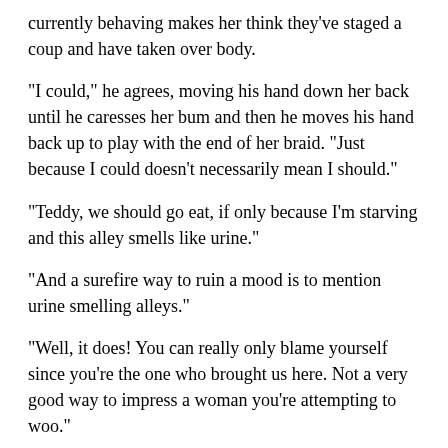currently behaving makes her think they've staged a coup and have taken over body.
“I could,” he agrees, moving his hand down her back until he caresses her bum and then he moves his hand back up to play with the end of her braid. “Just because I could doesn’t necessarily mean I should.”
“Teddy, we should go eat, if only because I’m starving and this alley smells like urine.”
“And a surefire way to ruin a mood is to mention urine smelling alleys.”
“Well, it does! You can really only blame yourself since you’re the one who brought us here. Not a very good way to impress a woman you’re attempting to woo.”
“Woo?” He grins widely as he looks down at her. “Is that what I’m doing? God, that sounds like something Gram would say.”
“Oh, just shut up,” she mutters.
“I was just teasing,” he says, losing his smile as he shifts awkwardly. “I like that you’re letting me woo you. It’s a good